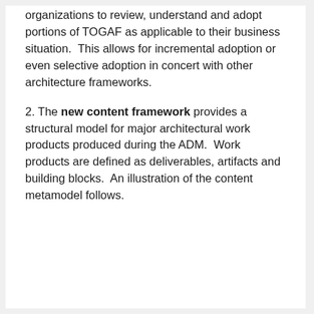organizations to review, understand and adopt portions of TOGAF as applicable to their business situation.  This allows for incremental adoption or even selective adoption in concert with other architecture frameworks.
2. The new content framework provides a structural model for major architectural work products produced during the ADM.  Work products are defined as deliverables, artifacts and building blocks.  An illustration of the content metamodel follows.